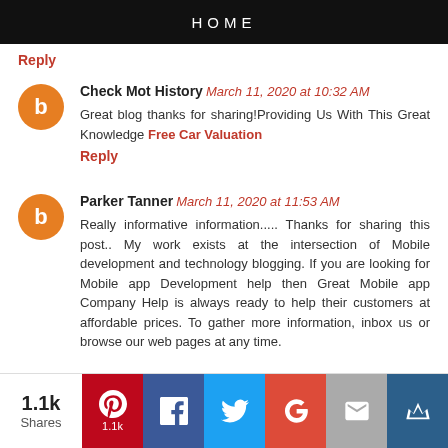HOME
Reply
Check Mot History March 11, 2020 at 10:32 AM
Great blog thanks for sharing!Providing Us With This Great Knowledge Free Car Valuation
Reply
Parker Tanner March 11, 2020 at 11:53 AM
Really informative information..... Thanks for sharing this post.. My work exists at the intersection of Mobile development and technology blogging. If you are looking for Mobile app Development help then Great Mobile app Company Help is always ready to help their customers at affordable prices. To gather more information, inbox us or browse our web pages at any time.
1.1k Shares